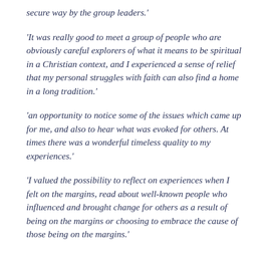secure way by the group leaders.'
'It was really good to meet a group of people who are obviously careful explorers of what it means to be spiritual in a Christian context, and I experienced a sense of relief that my personal struggles with faith can also find a home in a long tradition.'
'an opportunity to notice some of the issues which came up for me, and also to hear what was evoked for others. At times there was a wonderful timeless quality to my experiences.'
'I valued the possibility to reflect on experiences when I felt on the margins, read about well-known people who influenced and brought change for others as a result of being on the margins or choosing to embrace the cause of those being on the margins.'